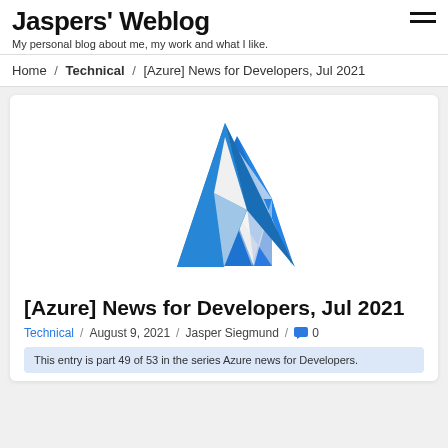Jaspers' Weblog
My personal blog about me, my work and what I like.
Home / Technical / [Azure] News for Developers, Jul 2021
[Figure (logo): Microsoft Azure logo — blue stylized letter A made of triangular shapes]
[Azure] News for Developers, Jul 2021
Technical / August 9, 2021 / Jasper Siegmund / 0
This entry is part 49 of 53 in the series Azure news for Developers.